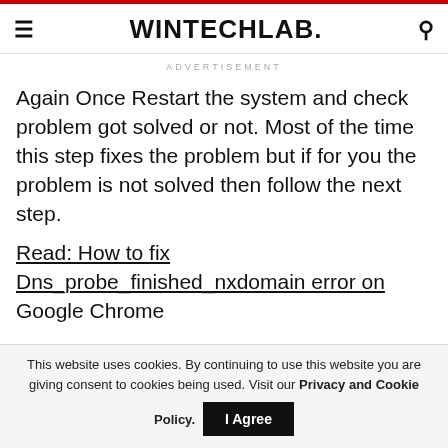WINTECHLAB.
ADVERTISEMENT
Again Once Restart the system and check problem got solved or not. Most of the time this step fixes the problem but if for you the problem is not solved then follow the next step.
Read: How to fix Dns_probe_finished_nxdomain error on Google Chrome
This website uses cookies. By continuing to use this website you are giving consent to cookies being used. Visit our Privacy and Cookie Policy.